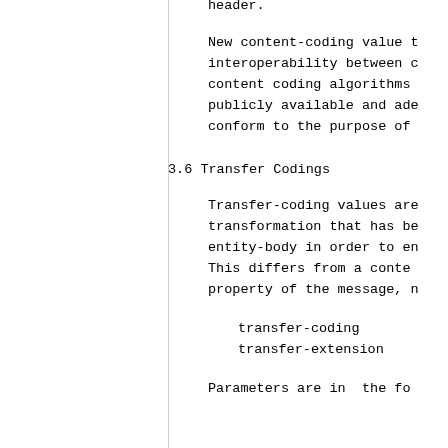header.
New content-coding value t interoperability between c content coding algorithms publicly available and ade conform to the purpose of
3.6 Transfer Codings
Transfer-coding values are transformation that has be entity-body in order to en This differs from a conte property of the message, n
transfer-coding
 transfer-extension
Parameters are in  the fo